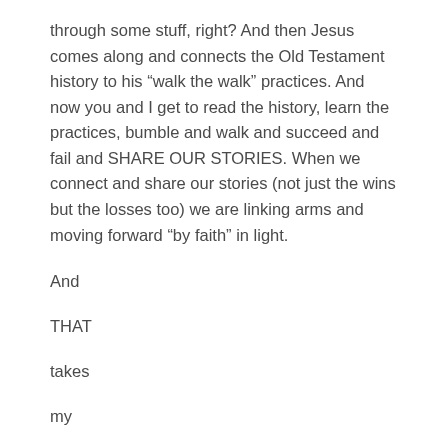through some stuff, right? And then Jesus comes along and connects the Old Testament history to his “walk the walk” practices. And now you and I get to read the history, learn the practices, bumble and walk and succeed and fail and SHARE OUR STORIES. When we connect and share our stories (not just the wins but the losses too) we are linking arms and moving forward “by faith” in light.
And
THAT
takes
my
breath
away.